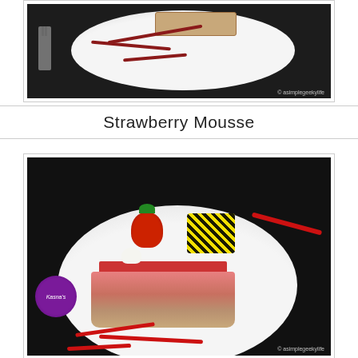[Figure (photo): A plate with a slice of layered cake decorated with red berry sauce drizzle, viewed from above on a dark background. Watermark: © asimplegeekylife]
Strawberry Mousse
[Figure (photo): A close-up of a slice of strawberry mousse cake on a white plate, topped with a fresh strawberry, cream, chocolate decoration, and red strawberry sauce drizzle. Kasna's logo visible. Watermark: © asimplegeekylife]